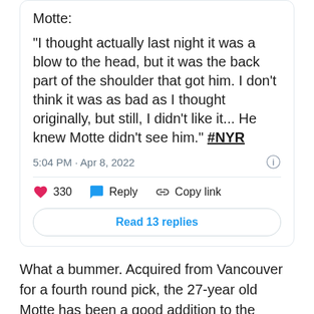Motte:
"I thought actually last night it was a blow to the head, but it was the back part of the shoulder that got him. I don't think it was as bad as I thought originally, but still, I didn't like it... He knew Motte didn't see him." #NYR
5:04 PM · Apr 8, 2022
330  Reply  Copy link
Read 13 replies
What a bummer. Acquired from Vancouver for a fourth round pick, the 27-year old Motte has been a good addition to the fourth line. Also a valuable penalty killer, his combination of speed and instincts make him a player